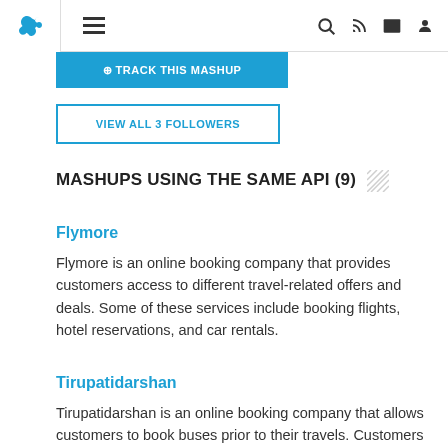[Figure (screenshot): Website navigation bar with puzzle piece logo icon on left, hamburger menu icon, and search, RSS, share, and user icons on the right]
[Figure (screenshot): Blue 'TRACK THIS MASHUP' button]
VIEW ALL 3 FOLLOWERS
MASHUPS USING THE SAME API (9)
Flymore
Flymore is an online booking company that provides customers access to different travel-related offers and deals. Some of these services include booking flights, hotel reservations, and car rentals.
Tirupatidarshan
Tirupatidarshan is an online booking company that allows customers to book buses prior to their travels. Customers can enter their departure and arrival destinations and times for a list of